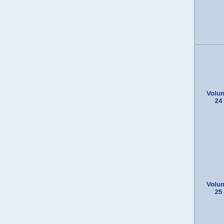| Volume | Chapters |
| --- | --- |
|  | Author's Notes |
| Volume 24 | Novel Illust. - Prologue - Chapter 1 - Chapter 2 - Chapter 3 - Chapter 4 - Epilogue - Life is Goodbye |
| Volume 25 | Novel Illust. - Early Diamond - Barbeque Pop - Bus-jack Time Wear My Rose - Persons - High Booster - Author's |